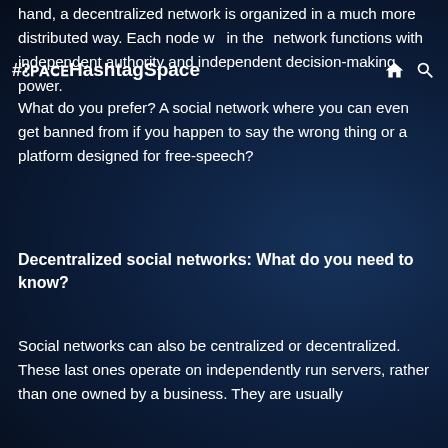#ᴤᴩᴀᴄᴇ HashtagSpace
hand, a decentralized network is organized in a much more distributed way. Each node within the network functions with independent authority and independent decision-making power.
What do you prefer? A social network where you can even get banned from if you happen to say the wrong thing or a platform designed for free-speech?
Decentralized social networks: What do you need to know?
Social networks can also be centralized or decentralized. These last ones operate on independently run servers, rather than one owned by a business. They are usually based on open-source software or run on blockchain. Blockchain technology allows data entries to be stored in servers that can be located anywhere in the world. It is also more transparent, as the data can be viewed in real-time by anyone on the network.
Besides, a decentralized social network is an ideal way to give users more control and autonomy. People can set up their decentralized social media platforms, determine how they want them to operate, and what people can say on
This website uses cookies to ensure you get the best experience on our website.
Learn More
Got It!